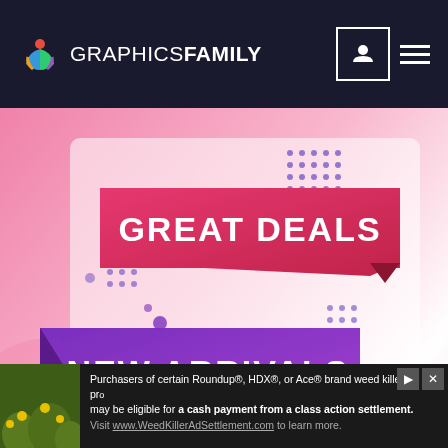GRAPHICS FAMILY
[Figure (illustration): Marketing banner showing 'GREAT DEALS' on a red ribbon and 'NEW ARRIVALS' on a purple ribbon against a pink gradient background with decorative dot patterns]
Free Memphis Style Flat Sale And Discount Banner Design
FREE
[Figure (illustration): Advertisement banner: Purchasers of certain Roundup®, HDX®, or Ace® brand weed killer pro may be eligible for a cash payment from a class action settlement. Visit www.WeedKillerAdSettlement.com to learn more.]